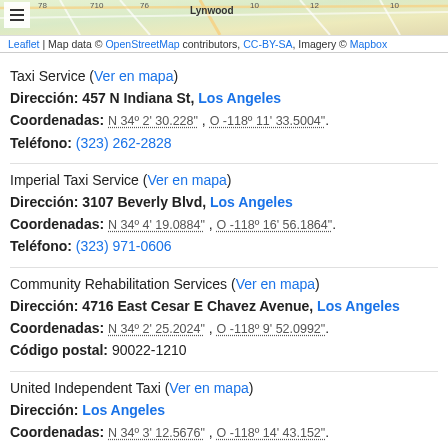[Figure (map): Map view of Los Angeles area with street overlay, Lynwood label visible, with Leaflet/OpenStreetMap attribution bar]
Taxi Service (Ver en mapa)
Dirección: 457 N Indiana St, Los Angeles
Coordenadas: N 34º 2' 30.228" , O -118º 11' 33.5004".
Teléfono: (323) 262-2828
Imperial Taxi Service (Ver en mapa)
Dirección: 3107 Beverly Blvd, Los Angeles
Coordenadas: N 34º 4' 19.0884" , O -118º 16' 56.1864".
Teléfono: (323) 971-0606
Community Rehabilitation Services (Ver en mapa)
Dirección: 4716 East Cesar E Chavez Avenue, Los Angeles
Coordenadas: N 34º 2' 25.2024" , O -118º 9' 52.0992".
Código postal: 90022-1210
United Independent Taxi (Ver en mapa)
Dirección: Los Angeles
Coordenadas: N 34º 3' 12.5676" , O -118º 14' 43.152".
Teléfono: (323) 653-5050